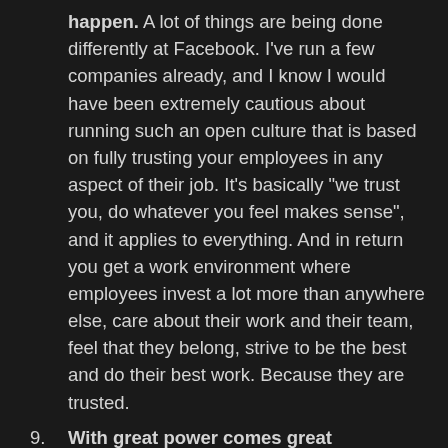happen. A lot of things are being done differently at Facebook. I've run a few companies already, and I know I would have been extremely cautious about running such an open culture that is based on fully trusting your employees in any aspect of their job. It's basically "we trust you, do whatever you feel makes sense", and it applies to everything. And in return you get a work environment where employees invest a lot more than anywhere else, care about their work and their team, feel that they belong, strive to be the best and do their best work. Because they are trusted.
9. With great power comes great responsibility. Sorry for being a bit of a cliche. I didn't mention any challenges or hardship, so here goes. Leading a product at Facebook means getting great power. You literally can influence the lives of millions. And as such it comes with great responsibility. Not just because of the extreme level of scrutiny, but also because knowing what your decisions impact is a significant burden. It really helps to be surrounded